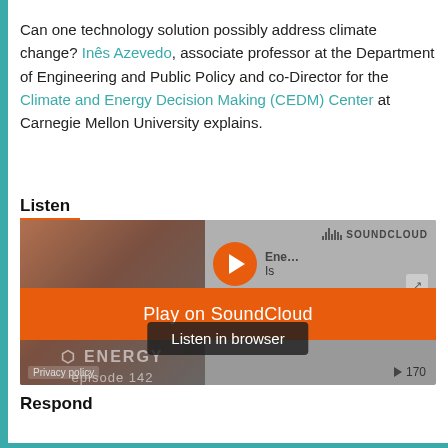Can one technology solution possibly address climate change? Inês Azevedo, associate professor at the Department of Engineering and Public Policy and co-Director for the Climate and Energy Decision Making (CEDM) Center at Carnegie Mellon University explains.
Listen
[Figure (screenshot): SoundCloud embedded player showing an audio episode with Play on SoundCloud orange button overlay and Listen in browser button]
Respond